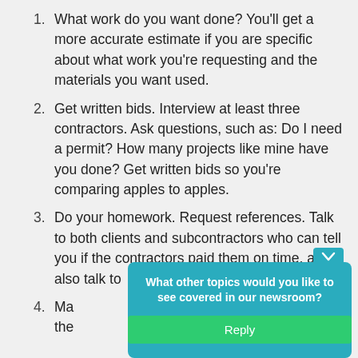What work do you want done? You'll get a more accurate estimate if you are specific about what work you're requesting and the materials you want used.
Get written bids. Interview at least three contractors. Ask questions, such as: Do I need a permit? How many projects like mine have you done? Get written bids so you're comparing apples to apples.
Do your homework. Request references. Talk to both clients and subcontractors who can tell you if the contractors paid them on time, and also talk to current customers.
Ma[ke sure the contractor is licensed. Verify that the... type of...
[Figure (infographic): A teal popup overlay prompting 'What other topics would you like to see covered in our newsroom?' with a green Reply button.]